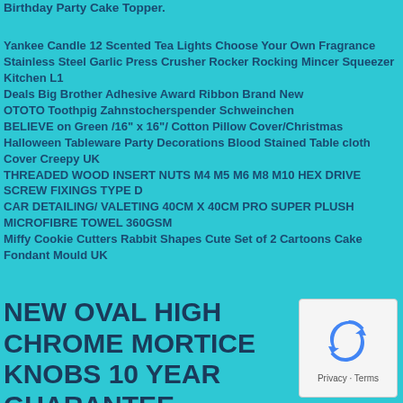Birthday Party Cake Topper.
Yankee Candle 12 Scented Tea Lights Choose Your Own Fragrance
Stainless Steel Garlic Press Crusher Rocker Rocking Mincer Squeezer Kitchen L1
Deals Big Brother Adhesive Award Ribbon Brand New
OTOTO Toothpig Zahnstocherspender Schweinchen
BELIEVE on Green /16" x 16"/ Cotton Pillow Cover/Christmas
Halloween Tableware Party Decorations Blood Stained Table cloth Cover Creepy UK
THREADED WOOD INSERT NUTS M4 M5 M6 M8 M10 HEX DRIVE SCREW FIXINGS TYPE D
CAR DETAILING/ VALETING 40CM X 40CM PRO SUPER PLUSH MICROFIBRE TOWEL 360GSM
Miffy Cookie Cutters Rabbit Shapes Cute Set of 2 Cartoons Cake Fondant Mould UK
NEW OVAL HIGH CHROME MORTICE KNOBS 10 YEAR GUARANTEE
[Figure (other): reCAPTCHA widget with circular arrow icon and Privacy - Terms text]